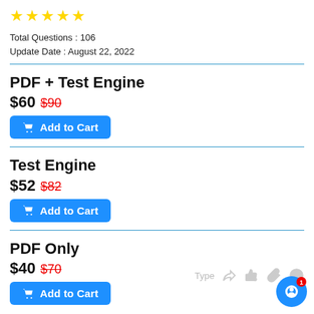[Figure (other): Five yellow star rating icons]
Total Questions : 106
Update Date : August 22, 2022
PDF + Test Engine
$60 $90
Add to Cart
Test Engine
$52 $82
Add to Cart
PDF Only
$40 $70
Add to Cart